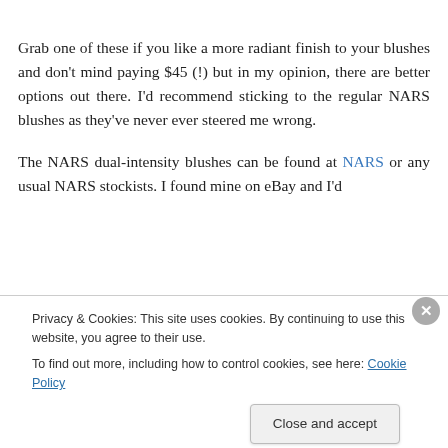Grab one of these if you like a more radiant finish to your blushes and don't mind paying $45 (!) but in my opinion, there are better options out there. I'd recommend sticking to the regular NARS blushes as they've never ever steered me wrong.
The NARS dual-intensity blushes can be found at NARS or any usual NARS stockists. I found mine on eBay and I'd
Privacy & Cookies: This site uses cookies. By continuing to use this website, you agree to their use.
To find out more, including how to control cookies, see here: Cookie Policy
Close and accept